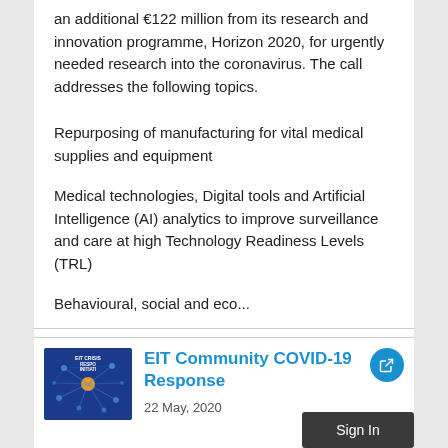an additional €122 million from its research and innovation programme, Horizon 2020, for urgently needed research into the coronavirus. The call addresses the following topics.
Repurposing of manufacturing for vital medical supplies and equipment
Medical technologies, Digital tools and Artificial Intelligence (AI) analytics to improve surveillance and care at high Technology Readiness Levels (TRL)
Behavioural, social and eco...
[Figure (illustration): EIT Crisis Response Initiative logo — dark blue background with network/circuit pattern and orange/yellow node highlight]
EIT Community COVID-19 Response
22 May, 2020